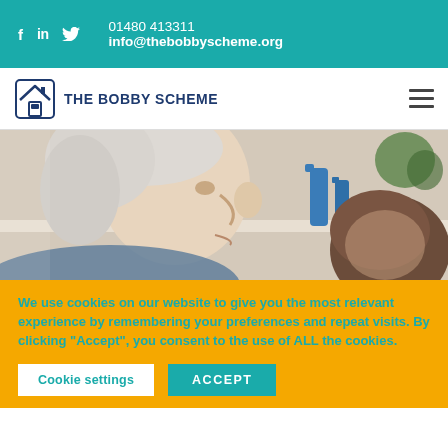f  in  𝑇  01480 413311  info@thebobbyscheme.org
[Figure (logo): The Bobby Scheme logo with house icon and text THE BOBBY SCHEME]
[Figure (photo): Elderly man with white hair in profile view, with another person partially visible behind him, blue vases in background]
We use cookies on our website to give you the most relevant experience by remembering your preferences and repeat visits. By clicking “Accept”, you consent to the use of ALL the cookies.
Cookie settings   ACCEPT